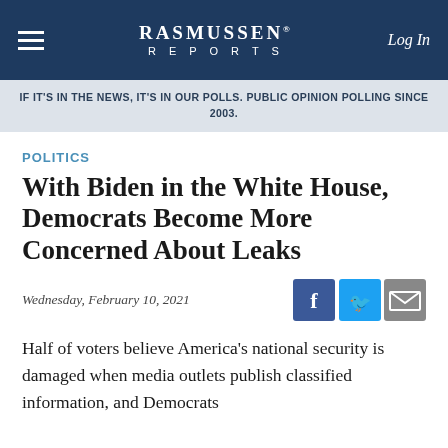RASMUSSEN REPORTS | Log In
IF IT'S IN THE NEWS, IT'S IN OUR POLLS. PUBLIC OPINION POLLING SINCE 2003.
POLITICS
With Biden in the White House, Democrats Become More Concerned About Leaks
Wednesday, February 10, 2021
Half of voters believe America's national security is damaged when media outlets publish classified information, and Democrats